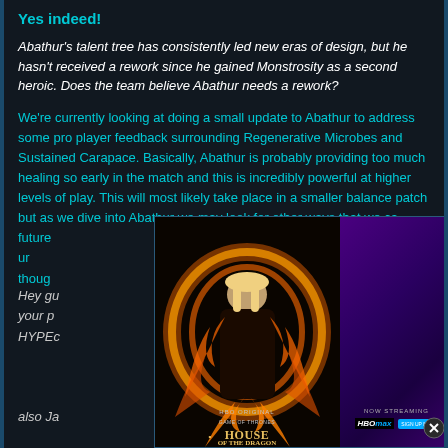Yes indeed!
Abathur's talent tree has consistently led new eras of design, but he hasn't received a rework since he gained Monstrosity as a second heroic. Does the team believe Abathur needs a rework?
We're currently looking at doing a small update to Abathur to address some pro player feedback surrounding Regenerative Microbes and Sustained Carapace. Basically, Abathur is probably providing too much healing so early in the match and this is incredibly powerful at higher levels of play. This will most likely take place in a smaller balance patch but as we dive into Abathur we may look for other ways that we ca[...] future[...] ur thoug[...]
Hey gu[...] and your p[...], it HYPEc[...]
also Ja[...]
[Figure (photo): House of the Dragon HBO Max streaming advertisement overlay with character surrounded by fire, purple background with 'NOW STREAMING HBOMAX' text and close button]